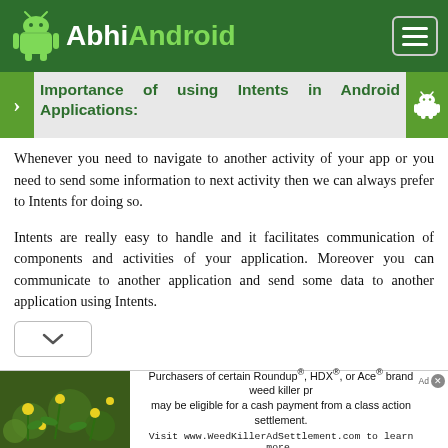AbhiAndroid
Importance of using Intents in Android Applications:
Whenever you need to navigate to another activity of your app or you need to send some information to next activity then we can always prefer to Intents for doing so.
Intents are really easy to handle and it facilitates communication of components and activities of your application. Moreover you can communicate to another application and send some data to another application using Intents.
[Figure (infographic): Advertisement banner: Purchasers of certain Roundup, HDX, or Ace brand weed killer products may be eligible for a cash payment from a class action settlement. Visit www.WeedKillerAdSettlement.com to learn more.]